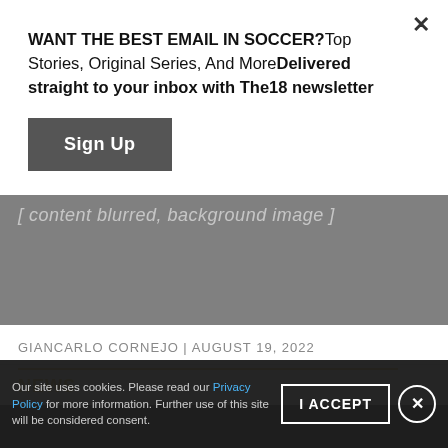WANT THE BEST EMAIL IN SOCCER?Top Stories, Original Series, And MoreDelivered straight to your inbox with The18 newsletter
Sign Up
[Figure (photo): Partially visible blurred/greyed background image of a soccer-related scene with italic text overlay]
GIANCARLO CORNEJO | AUGUST 19, 2022
NEWS
[Figure (photo): Dark background image at bottom of page]
Our site uses cookies. Please read our Privacy Policy for more information. Further use of this site will be considered consent.
I ACCEPT